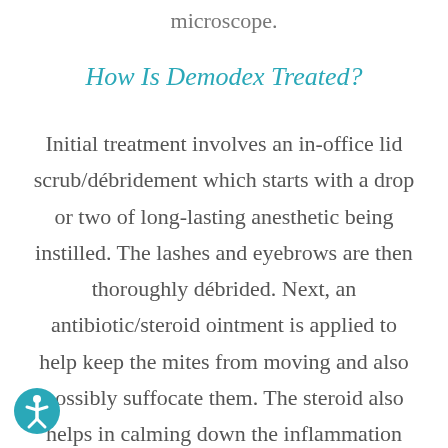microscope.
How Is Demodex Treated?
Initial treatment involves an in-office lid scrub/débridement which starts with a drop or two of long-lasting anesthetic being instilled. The lashes and eyebrows are then thoroughly débrided. Next, an antibiotic/steroid ointment is applied to help keep the mites from moving and also possibly suffocate them. The steroid also helps in calming down the inflammation